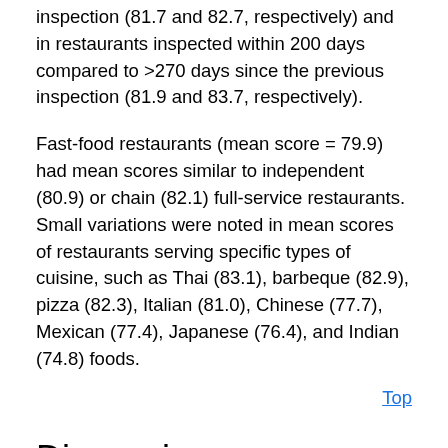inspection (81.7 and 82.7, respectively) and in restaurants inspected within 200 days compared to >270 days since the previous inspection (81.9 and 83.7, respectively).
Fast-food restaurants (mean score = 79.9) had mean scores similar to independent (80.9) or chain (82.1) full-service restaurants. Small variations were noted in mean scores of restaurants serving specific types of cuisine, such as Thai (83.1), barbeque (82.9), pizza (82.3), Italian (81.0), Chinese (77.7), Mexican (77.4), Japanese (76.4), and Indian (74.8) foods.
Top
Discussion
These data demonstrate that, during a 7-year period in Tennessee, routine restaurant inspection scores